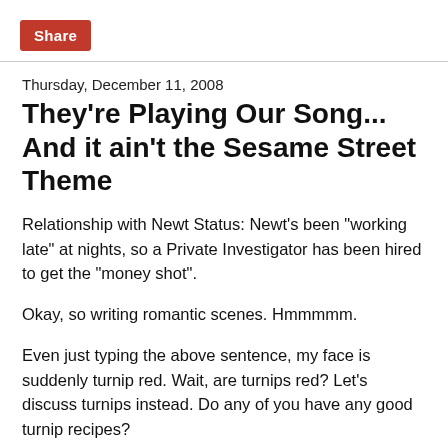[Figure (other): Red Share button]
Thursday, December 11, 2008
They're Playing Our Song... And it ain't the Sesame Street Theme
Relationship with Newt Status: Newt's been "working late" at nights, so a Private Investigator has been hired to get the "money shot".
Okay, so writing romantic scenes. Hmmmmm.
Even just typing the above sentence, my face is suddenly turnip red. Wait, are turnips red? Let's discuss turnips instead. Do any of you have any good turnip recipes?
Okay, Okay. I digress. I approach romantic scenes in my book the exact same way. Just when the tension gets a little... palpable, my main characters always get sidetracked with the colors of rare and random vegetables. Now I am definitely not talking about the